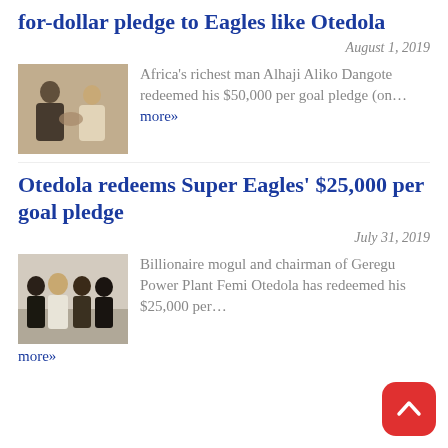for-dollar pledge to Eagles like Otedola
August 1, 2019
[Figure (photo): Two men shaking hands / exchanging document in a room]
Africa's richest man Alhaji Aliko Dangote redeemed his $50,000 per goal pledge (on… more»
Otedola redeems Super Eagles' $25,000 per goal pledge
July 31, 2019
[Figure (photo): Group of four men standing together indoors]
Billionaire mogul and chairman of Geregu Power Plant Femi Otedola has redeemed his $25,000 per…
more»